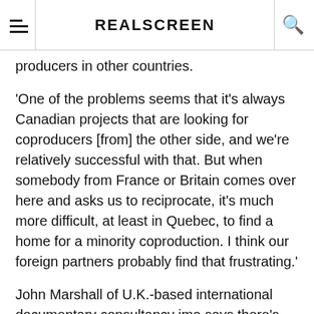REALSCREEN
producers in other countries.
'One of the problems seems that it's always Canadian projects that are looking for coproducers [from] the other side, and we're relatively successful with that. But when somebody from France or Britain comes over here and asks us to reciprocate, it's much more difficult, at least in Quebec, to find a home for a minority coproduction. I think our foreign partners probably find that frustrating.'
John Marshall of U.K.-based international documentary consultancy jma says there's